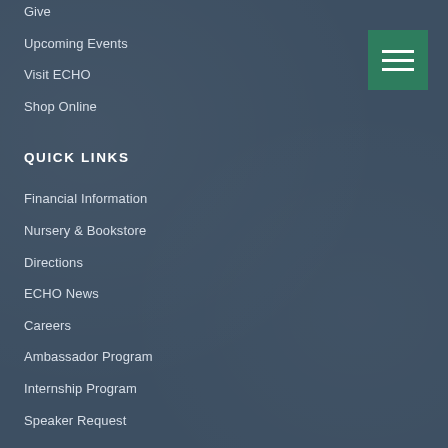Give
Upcoming Events
Visit ECHO
Shop Online
QUICK LINKS
Financial Information
Nursery & Bookstore
Directions
ECHO News
Careers
Ambassador Program
Internship Program
Speaker Request
CONNECT
17391 Durrance Road
North Fort Myers, FL 33917